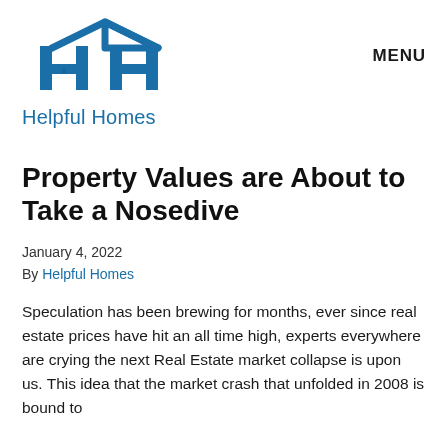[Figure (logo): Helpful Homes logo: two H letters forming a house shape in dark blue, with a small blue square in the center]
Helpful Homes
MENU
Property Values are About to Take a Nosedive
January 4, 2022
By Helpful Homes
Speculation has been brewing for months, ever since real estate prices have hit an all time high, experts everywhere are crying the next Real Estate market collapse is upon us. This idea that the market crash that unfolded in 2008 is bound to